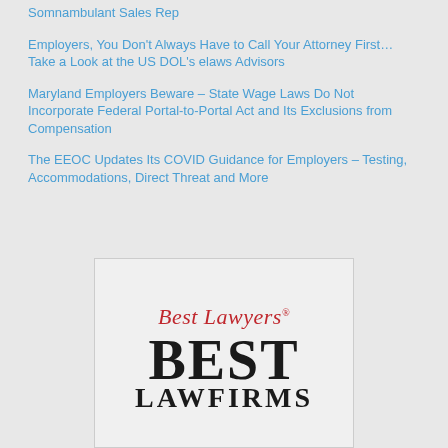Somnambulant Sales Rep
Employers, You Don't Always Have to Call Your Attorney First... Take a Look at the US DOL's elaws Advisors
Maryland Employers Beware – State Wage Laws Do Not Incorporate Federal Portal-to-Portal Act and Its Exclusions from Compensation
The EEOC Updates Its COVID Guidance for Employers – Testing, Accommodations, Direct Threat and More
[Figure (logo): Best Lawyers badge showing 'Best Lawyers' in red italic serif font above large bold dark text 'BEST' and below it 'LAWFIRMS']